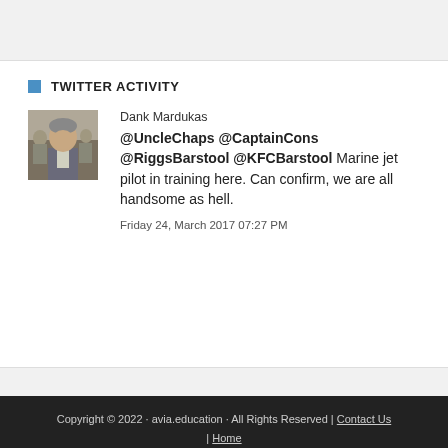TWITTER ACTIVITY
[Figure (photo): Avatar photo of a man in a suit with other people in background, grayscale/color photo thumbnail]
Dank Mardukas
@UncleChaps @CaptainCons @RiggsBarstool @KFCBarstool Marine jet pilot in training here. Can confirm, we are all handsome as hell.

Friday 24, March 2017 07:27 PM
Copyright © 2022 · avia.education · All Rights Reserved | Contact Us | Home